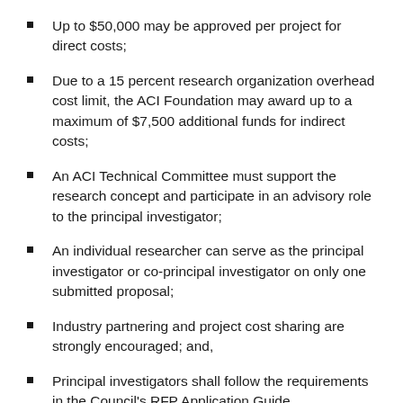Up to $50,000 may be approved per project for direct costs;
Due to a 15 percent research organization overhead cost limit, the ACI Foundation may award up to a maximum of $7,500 additional funds for indirect costs;
An ACI Technical Committee must support the research concept and participate in an advisory role to the principal investigator;
An individual researcher can serve as the principal investigator or co-principal investigator on only one submitted proposal;
Industry partnering and project cost sharing are strongly encouraged; and,
Principal investigators shall follow the requirements in the Council's RFP Application Guide.
Selection of awarded projects and notifications to principal